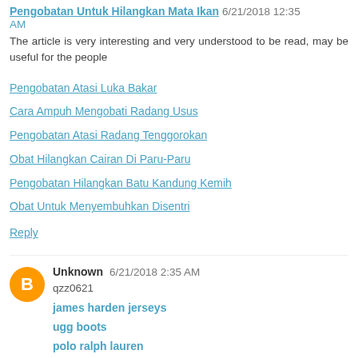Pengobatan Untuk Hilangkan Mata Ikan 6/21/2018 12:35 AM
The article is very interesting and very understood to be read, may be useful for the people
Pengobatan Atasi Luka Bakar
Cara Ampuh Mengobati Radang Usus
Pengobatan Atasi Radang Tenggorokan
Obat Hilangkan Cairan Di Paru-Paru
Pengobatan Hilangkan Batu Kandung Kemih
Obat Untuk Menyembuhkan Disentri
Reply
Unknown 6/21/2018 2:35 AM
qzz0621
james harden jerseys
ugg boots
polo ralph lauren
dsquared2 jeans
moncler outlet
ray ban sunglasses